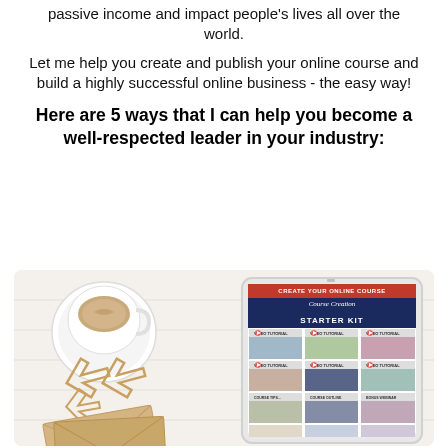passive income and impact people's lives all over the world.
Let me help you create and publish your online course and build a highly successful online business - the easy way!
Here are 5 ways that I can help you become a well-respected leader in your industry:
[Figure (photo): Flat lay desk scene with coffee cup, arrow decorations, and kraft envelopes on white wood surface, alongside a tablet displaying a 'Create Your Online Course - Course Creation Starter Kit' webpage with video tutorial thumbnails in a grid layout.]